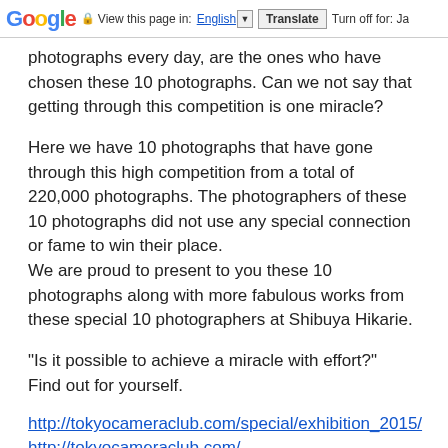Google  View this page in: English [▼]  Translate  Turn off for: Ja
photographs every day, are the ones who have chosen these 10 photographs. Can we not say that getting through this competition is one miracle?

Here we have 10 photographs that have gone through this high competition from a total of 220,000 photographs. The photographers of these 10 photographs did not use any special connection or fame to win their place.
We are proud to present to you these 10 photographs along with more fabulous works from these special 10 photographers at Shibuya Hikarie.

"Is it possible to achieve a miracle with effort?"
Find out for yourself.
http://tokyocameraclub.com/special/exhibition_2015/
http://tokyocameraclub.com/